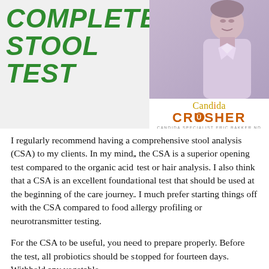[Figure (screenshot): Video thumbnail for 'Complete Stool Test' showing a YouTube play button overlay and a photo of a man (Candida Specialist Eric Bakker ND). The thumbnail includes bold green italic text reading 'COMPLETE STOOL TEST' and the Candida Crusher logo/branding.]
I regularly recommend having a comprehensive stool analysis (CSA) to my clients. In my mind, the CSA is a superior opening test compared to the organic acid test or hair analysis. I also think that a CSA is an excellent foundational test that should be used at the beginning of the care journey. I much prefer starting things off with the CSA compared to food allergy profiling or neurotransmitter testing.
For the CSA to be useful, you need to prepare properly. Before the test, all probiotics should be stopped for fourteen days. Withhold any vegetable-